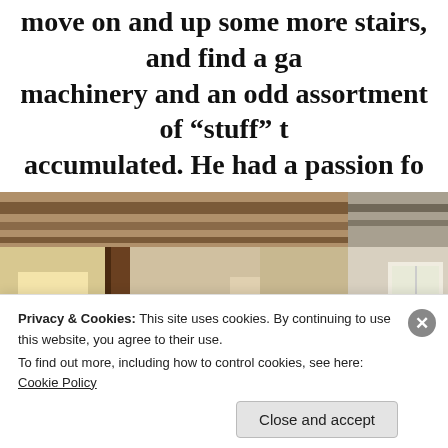move on and up some more stairs, and find a ga machinery and an odd assortment of “stuff” t accumulated. He had a passion fo
[Figure (photo): Two photos side by side in a museum gallery. The main (left) photo shows a large wooden wheel (mill or spinning wheel apparatus) in the foreground on a wooden floor, with museum displays and a portrait in the background, in a room with exposed beams and pillars. The right photo shows a partial view of another room with a desk/table near a window.]
Privacy & Cookies: This site uses cookies. By continuing to use this website, you agree to their use.
To find out more, including how to control cookies, see here: Cookie Policy
Close and accept